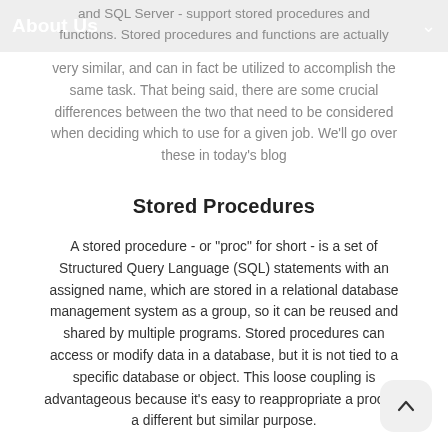About Us
and SQL Server - support stored procedures and functions. Stored procedures and functions are actually very similar, and can in fact be utilized to accomplish the same task. That being said, there are some crucial differences between the two that need to be considered when deciding which to use for a given job. We'll go over these in today's blog
Stored Procedures
A stored procedure - or "proc" for short - is a set of Structured Query Language (SQL) statements with an assigned name, which are stored in a relational database management system as a group, so it can be reused and shared by multiple programs. Stored procedures can access or modify data in a database, but it is not tied to a specific database or object. This loose coupling is advantageous because it's easy to reappropriate a proc for a different but similar purpose.